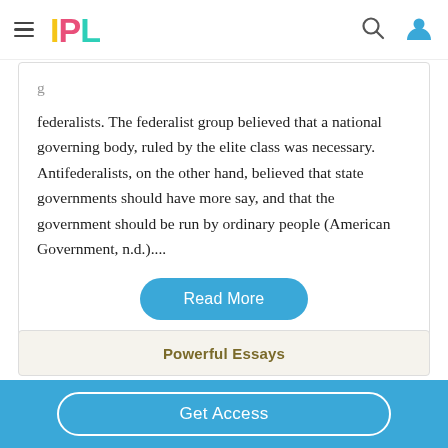IPL
federalists. The federalist group believed that a national governing body, ruled by the elite class was necessary. Antifederalists, on the other hand, believed that state governments should have more say, and that the government should be run by ordinary people (American Government, n.d.)....
Powerful Essays
Get Access